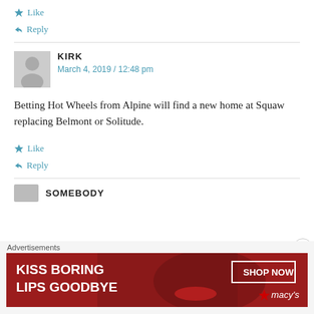★ Like
↩ Reply
KIRK
March 4, 2019 / 12:48 pm
Betting Hot Wheels from Alpine will find a new home at Squaw replacing Belmont or Solitude.
★ Like
↩ Reply
SOMEBODY
Advertisements
[Figure (photo): Macy's advertisement: 'KISS BORING LIPS GOODBYE' with SHOP NOW button and Macy's star logo, dark red background with woman's face]